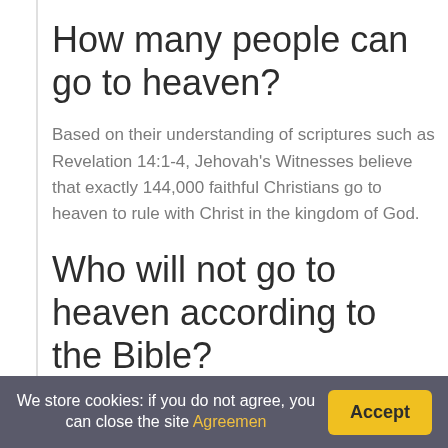How many people can go to heaven?
Based on their understanding of scriptures such as Revelation 14:1-4, Jehovah's Witnesses believe that exactly 144,000 faithful Christians go to heaven to rule with Christ in the kingdom of God.
Who will not go to heaven according to the Bible?
He says, the will of him that sent me, that every man that seeth the Son and believeth on him should have...
We store cookies: if you do not agree, you can close the site Agreemen